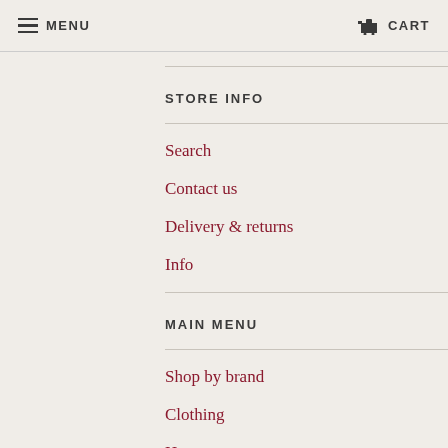MENU  CART
STORE INFO
Search
Contact us
Delivery & returns
Info
MAIN MENU
Shop by brand
Clothing
Hats
Footwear
Accessories & Other